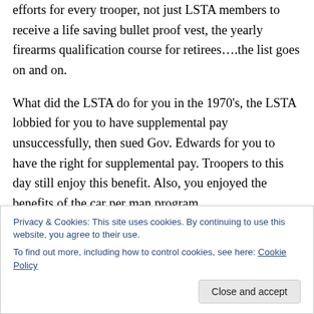efforts for every trooper, not just LSTA members to receive a life saving bullet proof vest, the yearly firearms qualification course for retirees....the list goes on and on.
What did the LSTA do for you in the 1970's, the LSTA lobbied for you to have supplemental pay unsuccessfully, then sued Gov. Edwards for you to have the right for supplemental pay. Troopers to this day still enjoy this benefit. Also, you enjoyed the benefits of the car per man program
Privacy & Cookies: This site uses cookies. By continuing to use this website, you agree to their use.
To find out more, including how to control cookies, see here: Cookie Policy